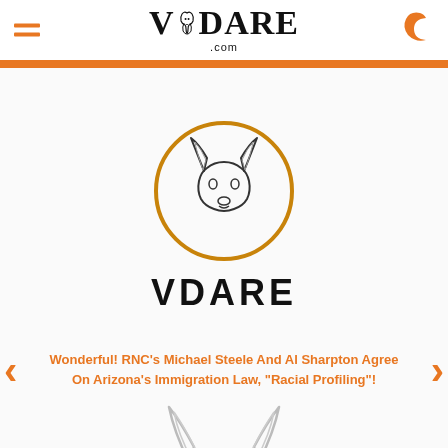VDARE.com
[Figure (logo): VDARE deer logo — circular outlined deer head with the word VDARE in bold below]
Wonderful! RNC's Michael Steele And Al Sharpton Agree On Arizona's Immigration Law, "Racial Profiling"!
[Figure (illustration): Partial deer head illustration at bottom of page]